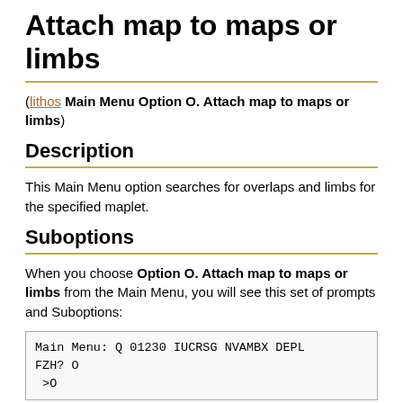Attach map to maps or limbs
(lithos Main Menu Option O. Attach map to maps or limbs)
Description
This Main Menu option searches for overlaps and limbs for the specified maplet.
Suboptions
When you choose Option O. Attach map to maps or limbs from the Main Menu, you will see this set of prompts and Suboptions:
Main Menu: Q 01230 IUCRSG NVAMBX DEPL
FZH? O
 >O